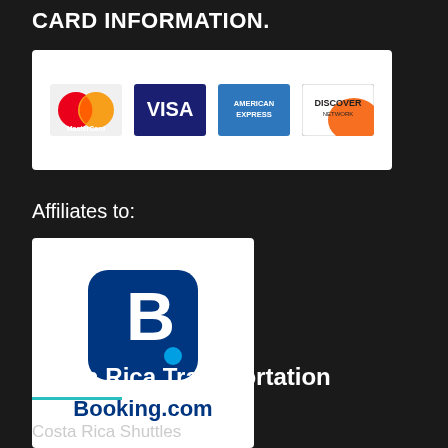CARD INFORMATION.
[Figure (logo): Credit card logos: MasterCard, VISA, American Express, Discover Network on white background]
Affiliates to:
[Figure (logo): Booking.com logo on white background — dark blue rounded square with white 'B.' and 'Booking.com' text below in blue]
Costa Rica Transportation
Costa Rica Shuttles